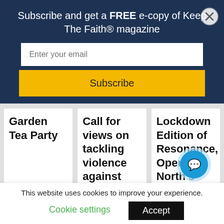Subscribe and get a FREE e-copy of Keep The Faith® magazine
Enter your email
Subscribe
Garden Tea Party
Call for views on tackling violence against women and girls
Lockdown Edition of Resonance, Opera North's programme for BAME musi…
This website uses cookies to improve your experience.
Cookie settings
Accept